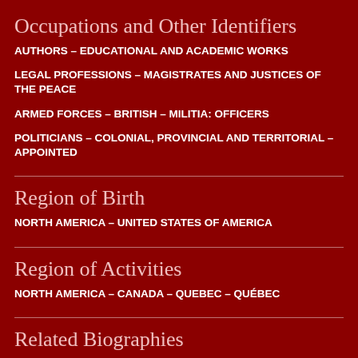Occupations and Other Identifiers
AUTHORS – EDUCATIONAL AND ACADEMIC WORKS
LEGAL PROFESSIONS – MAGISTRATES AND JUSTICES OF THE PEACE
ARMED FORCES – BRITISH – MILITIA: OFFICERS
POLITICIANS – COLONIAL, PROVINCIAL AND TERRITORIAL – APPOINTED
Region of Birth
NORTH AMERICA – UNITED STATES OF AMERICA
Region of Activities
NORTH AMERICA – CANADA – QUEBEC – QUÉBEC
Related Biographies